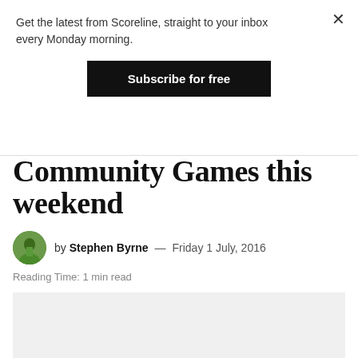Get the latest from Scoreline, straight to your inbox every Monday morning.
Subscribe for free
Community Games this weekend
by Stephen Byrne — Friday 1 July, 2016
Reading Time: 1 min read
[Figure (photo): Light gray placeholder image for article]